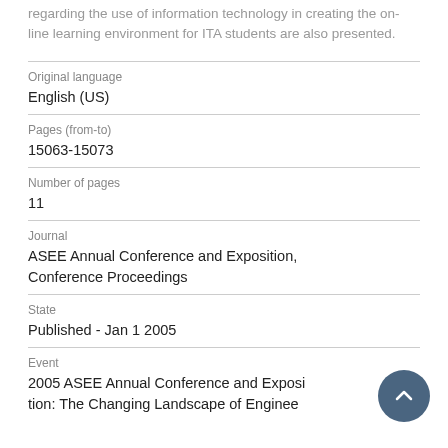regarding the use of information technology in creating the on-line learning environment for ITA students are also presented.
Original language
English (US)
Pages (from-to)
15063-15073
Number of pages
11
Journal
ASEE Annual Conference and Exposition, Conference Proceedings
State
Published - Jan 1 2005
Event
2005 ASEE Annual Conference and Exposition: The Changing Landscape of Enginee